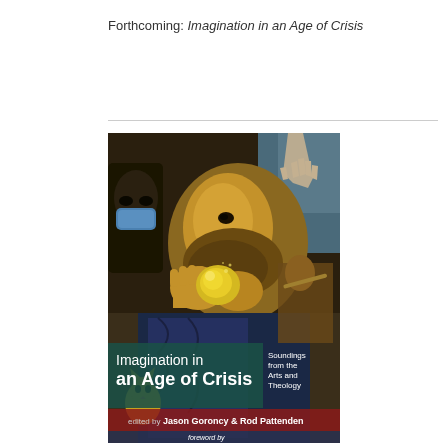Forthcoming: Imagination in an Age of Crisis
[Figure (illustration): Book cover of 'Imagination in an Age of Crisis: Soundings from the Arts and Theology', edited by Jason Goroncy & Rod Pattenden, foreword by [author cut off]. The cover features a dark oil painting of a bearded man biting into a yellow fruit (apple), with a masked figure to the left, a cat below, hands reaching down from above, and a figure playing an instrument in the background. The title appears in large white and teal text overlaid on the painting, with subtitle in smaller white text to the right.]